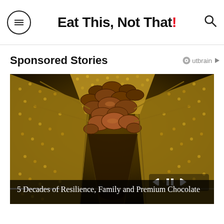Eat This, Not That!
Sponsored Stories
[Figure (photo): Overhead view of chocolate coins or discs falling through a metallic mesh/funnel structure in a chocolate factory. Dark golden tones with textured metal mesh walls and chocolate pieces cascading down the center.]
5 Decades of Resilience, Family and Premium Chocolate